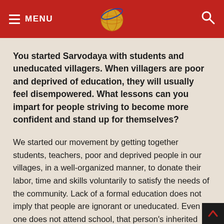MENU [logo] [search]
You started Sarvodaya with students and uneducated villagers. When villagers are poor and deprived of education, they will usually feel disempowered. What lessons can you impart for people striving to become more confident and stand up for themselves?
We started our movement by getting together students, teachers, poor and deprived people in our villages, in a well-organized manner, to donate their labor, time and skills voluntarily to satisfy the needs of the community. Lack of a formal education does not imply that people are ignorant or uneducated. Even if one does not attend school, that person's inherited knowledge and wisdom can manifest themselves if a proper environment is